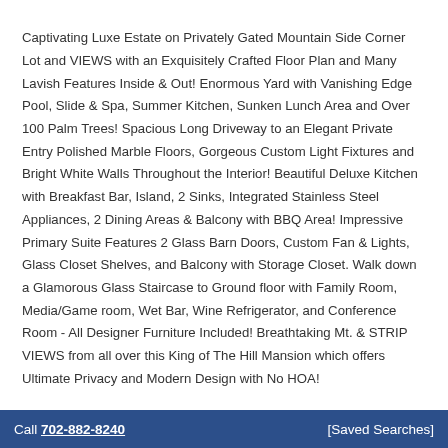Captivating Luxe Estate on Privately Gated Mountain Side Corner Lot and VIEWS with an Exquisitely Crafted Floor Plan and Many Lavish Features Inside & Out! Enormous Yard with Vanishing Edge Pool, Slide & Spa, Summer Kitchen, Sunken Lunch Area and Over 100 Palm Trees! Spacious Long Driveway to an Elegant Private Entry Polished Marble Floors, Gorgeous Custom Light Fixtures and Bright White Walls Throughout the Interior! Beautiful Deluxe Kitchen with Breakfast Bar, Island, 2 Sinks, Integrated Stainless Steel Appliances, 2 Dining Areas & Balcony with BBQ Area! Impressive Primary Suite Features 2 Glass Barn Doors, Custom Fan & Lights, Glass Closet Shelves, and Balcony with Storage Closet. Walk down a Glamorous Glass Staircase to Ground floor with Family Room, Media/Game room, Wet Bar, Wine Refrigerator, and Conference Room - All Designer Furniture Included! Breathtaking Mt. & STRIP VIEWS from all over this King of The Hill Mansion which offers Ultimate Privacy and Modern Design with No HOA!
Call 702-882-8240    [Saved Searches]